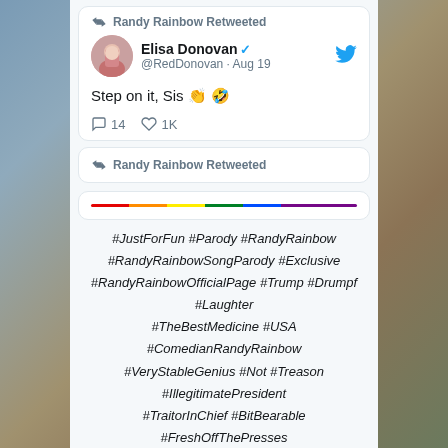Randy Rainbow Retweeted
Elisa Donovan @RedDonovan · Aug 19
Step on it, Sis 👏 🤣
14  1K
Randy Rainbow Retweeted
[Figure (other): Rainbow colored horizontal line divider]
#JustForFun #Parody #RandyRainbow #RandyRainbowSongParody #Exclusive #RandyRainbowOfficialPage #Trump #Drumpf #Laughter #TheBestMedicine #USA #ComedianRandyRainbow #VeryStableGenius #Not #Treason #IllegitimatePresident #TraitorInChief #BitBearable #FreshOffThePresses